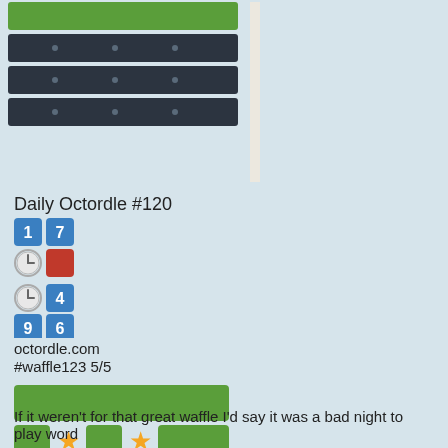[Figure (screenshot): Top portion of a word game grid with green bar at top, three dark rows with small dots, and two yellow squares on the right side]
Daily Octordle #120
[Figure (infographic): Octordle score display: row with 1 and 7 in blue boxes; row with clock icon and red box; row with clock icon and 4 in blue box; row with 9 and 6 in blue boxes]
octordle.com
#waffle123 5/5
[Figure (infographic): Waffle game result grid: 5 rows of green tiles with orange star emojis scattered in positions]
🔥 streak: 4
wafflegame.net
If it weren't for that great waffle I'd say it was a bad night to play word